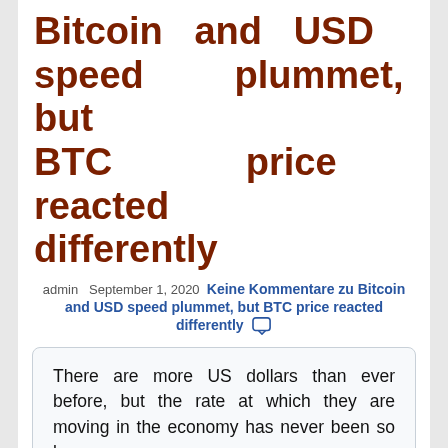Bitcoin and USD speed plummet, but BTC price reacted differently
admin  September 1, 2020  Keine Kommentare zu Bitcoin and USD speed plummet, but BTC price reacted differently
There are more US dollars than ever before, but the rate at which they are moving in the economy has never been so low.
That was according to the Federal Reserve's own statistics on August 31, which showed that there had been a collapse in the speed of the M2 money supply despite record money printing.